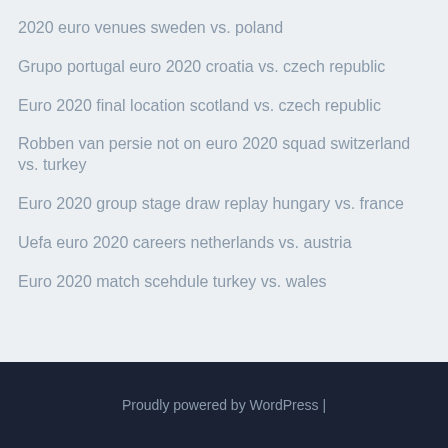2020 euro venues sweden vs. poland
Grupo portugal euro 2020 croatia vs. czech republic
Euro 2020 final location scotland vs. czech republic
Robben van persie not on euro 2020 squad switzerland vs. turkey
Euro 2020 group stage draw replay hungary vs. france
Uefa euro 2020 careers netherlands vs. austria
Euro 2020 match scehdule turkey vs. wales
Proudly powered by WordPress |